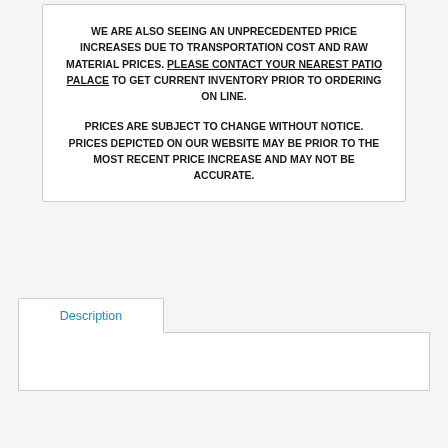WE ARE ALSO SEEING AN UNPRECEDENTED PRICE INCREASES DUE TO TRANSPORTATION COST AND RAW MATERIAL PRICES. PLEASE CONTACT YOUR NEAREST PATIO PALACE TO GET CURRENT INVENTORY PRIOR TO ORDERING ON LINE.

PRICES ARE SUBJECT TO CHANGE WITHOUT NOTICE. PRICES DEPICTED ON OUR WEBSITE MAY BE PRIOR TO THE MOST RECENT PRICE INCREASE AND MAY NOT BE ACCURATE.
Description